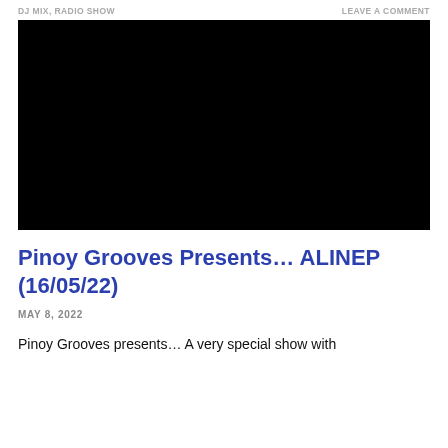DJ MIX, RADIO SHOW   LEAVE A COMMENT
[Figure (photo): Black rectangular image placeholder, likely a video embed or media player with no content visible.]
Pinoy Grooves Presents... ALINEP (16/05/22)
MAY 8, 2022
Pinoy Grooves presents… A very special show with